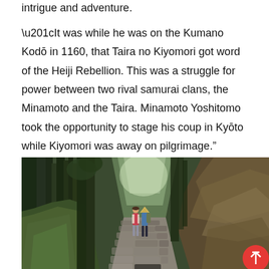intrigue and adventure.
“It was while he was on the Kumano Kodō in 1160, that Taira no Kiyomori got word of the Heiji Rebellion. This was a struggle for power between two rival samurai clans, the Minamoto and the Taira. Minamoto Yoshitomo took the opportunity to stage his coup in Kyōto while Kiyomori was away on pilgrimage.”
[Figure (photo): Two pilgrims walking on a stone-paved forest trail (Kumano Kodo), surrounded by tall cedar trees and a moss-covered hillside. One pilgrim wears a traditional conical hat.]